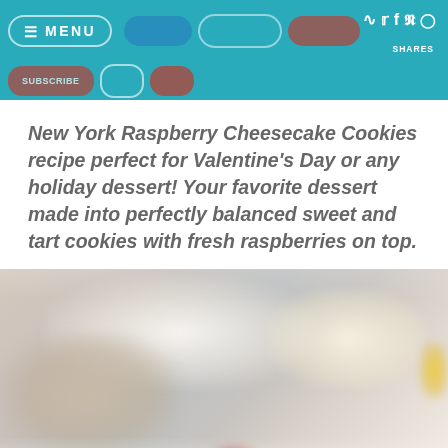MENU | social share icons | SHARES
New York Raspberry Cheesecake Cookies recipe perfect for Valentine’s Day or any holiday dessert! Your favorite dessert made into perfectly balanced sweet and tart cookies with fresh raspberries on top.
[Figure (photo): Blurred photo of New York Raspberry Cheesecake Cookies on a plate, showing round cookies with fresh raspberries on top, soft focus lifestyle food photography]